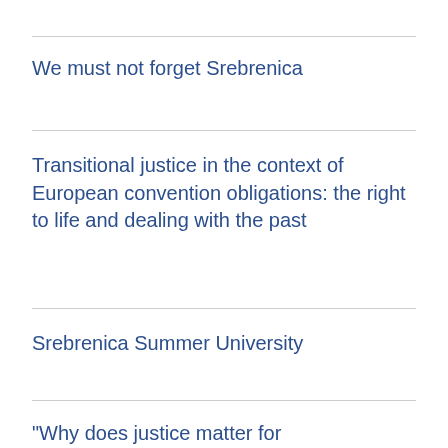We must not forget Srebrenica
Transitional justice in the context of European convention obligations: the right to life and dealing with the past
Srebrenica Summer University
"Why does justice matter for